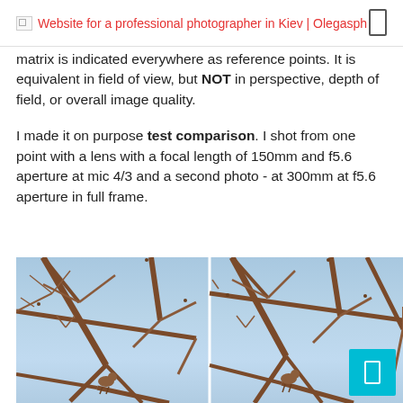Website for a professional photographer in Kiev | Olegasph
matrix is indicated everywhere as reference points. It is equivalent in field of view, but NOT in perspective, depth of field, or overall image quality.
I made it on purpose test comparison. I shot from one point with a lens with a focal length of 150mm and f5.6 aperture at mic 4/3 and a second photo - at 300mm at f5.6 aperture in full frame.
[Figure (photo): Two side-by-side comparison photos of a bird perched in bare winter tree branches against a light blue sky.]